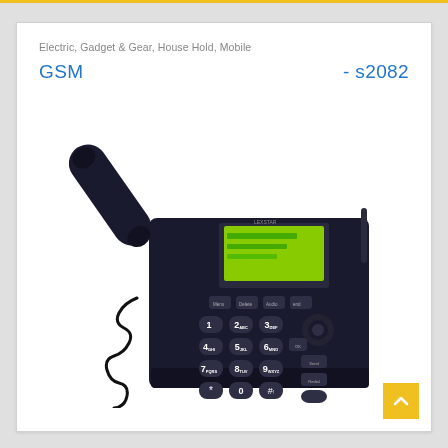Electric, Gadget & Gear, House Hold, Mobile
GSM                                    - s2082
[Figure (photo): A black LEXSTAR GSM desktop landline telephone with handset, coiled cord, numeric keypad, LCD display showing green screen, and antenna on the right side.]